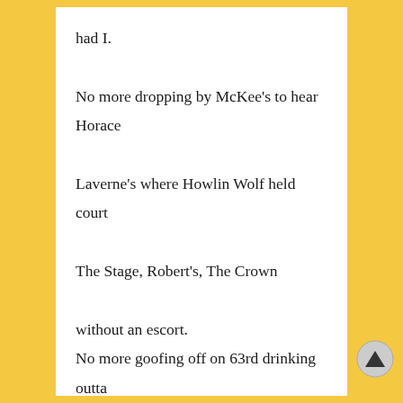had I.

No more dropping by McKee's to hear Horace
Laverne's where Howlin Wolf held court
The Stage, Robert's, The Crown
without an escort.
No more goofing off on 63rd drinking outta
paper bags and eating Bar-B-Q
at 4 AM with friends
No more just walking around Marquette park
with Connie on my arm
No more cruising the old neighborhood
No more.